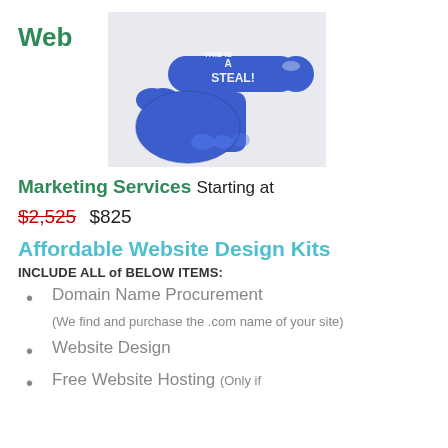Web
[Figure (illustration): A blue foam finger pointing right with text 'THIS IS A STEAL!' written on it, on a light gray background.]
Marketing Services Starting at
$2,525  $825
Affordable Website Design Kits
INCLUDE ALL of BELOW ITEMS:
Domain Name Procurement
(We find and purchase the .com name of your site)
Website Design
Free Website Hosting (Only if